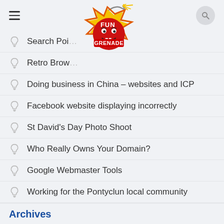Fun Grenade — navigation menu with hamburger and search
[Figure (logo): Fun Grenade logo: a red cartoon bomb character with a sparking fuse, surrounded by a yellow comic-style explosion with the text FUN GRENADE in red capital letters]
Search Point
Retro Brow…
Doing business in China – websites and ICP
Facebook website displaying incorrectly
St David's Day Photo Shoot
Who Really Owns Your Domain?
Google Webmaster Tools
Working for the Pontyclun local community
Facebook or Website?
Archives